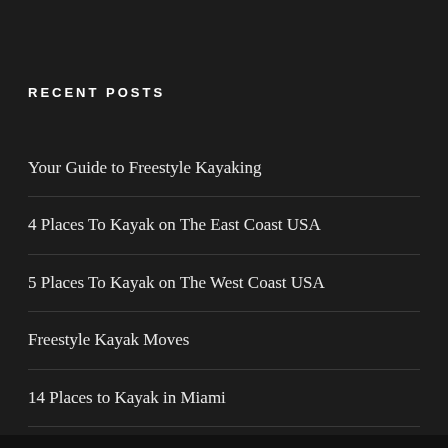RECENT POSTS
Your Guide to Freestyle Kayaking
4 Places To Kayak on The East Coast USA
5 Places To Kayak on The West Coast USA
Freestyle Kayak Moves
14 Places to Kayak in Miami
Best 13 Places to Kayak in Baltimore